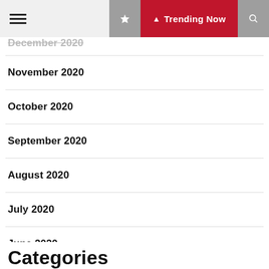☰ Trending Now
December 2020
November 2020
October 2020
September 2020
August 2020
July 2020
June 2020
Categories